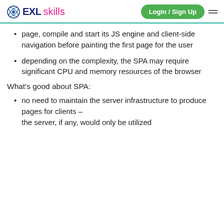EXL skills — Login / Sign Up
page, compile and start its JS engine and client-side navigation before painting the first page for the user
depending on the complexity, the SPA may require significant CPU and memory resources of the browser
What's good about SPA:
no need to maintain the server infrastructure to produce pages for clients – the server, if any, would only be utilized